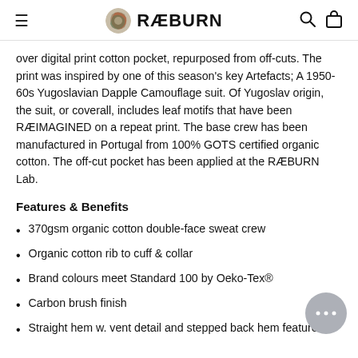RÆBURN
over digital print cotton pocket, repurposed from off-cuts. The print was inspired by one of this season's key Artefacts; A 1950-60s Yugoslavian Dapple Camouflage suit. Of Yugoslav origin, the suit, or coverall, includes leaf motifs that have been RÆIMAGINED on a repeat print. The base crew has been manufactured in Portugal from 100% GOTS certified organic cotton. The off-cut pocket has been applied at the RÆBURN Lab.
Features & Benefits
370gsm organic cotton double-face sweat crew
Organic cotton rib to cuff & collar
Brand colours meet Standard 100 by Oeko-Tex®
Carbon brush finish
Straight hem w. vent detail and stepped back hem feature